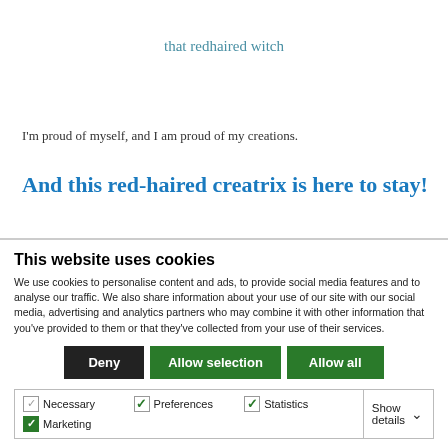that redhaired witch
I'm proud of myself, and I am proud of my creations.
And this red-haired creatrix is here to stay!
This website uses cookies
We use cookies to personalise content and ads, to provide social media features and to analyse our traffic. We also share information about your use of our site with our social media, advertising and analytics partners who may combine it with other information that you've provided to them or that they've collected from your use of their services.
Deny | Allow selection | Allow all
Necessary | Preferences | Statistics | Marketing | Show details